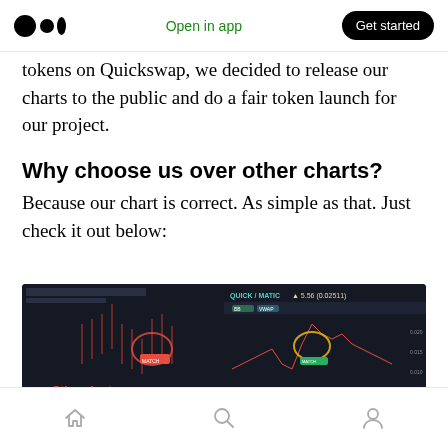Medium logo | Open in app | Get started
tokens on Quickswap, we decided to release our charts to the public and do a fair token launch for our project.
Why choose us over other charts?
Because our chart is correct. As simple as that. Just check it out below:
[Figure (screenshot): Side-by-side comparison of two trading charts on dark backgrounds. Left side labeled 'Other chart' in red with a red circled area. Right side labeled 'Polychart's historical data' in yellow/green with a yellow circled area showing QUICK/MATIC price data.]
Home | Search | Profile navigation icons